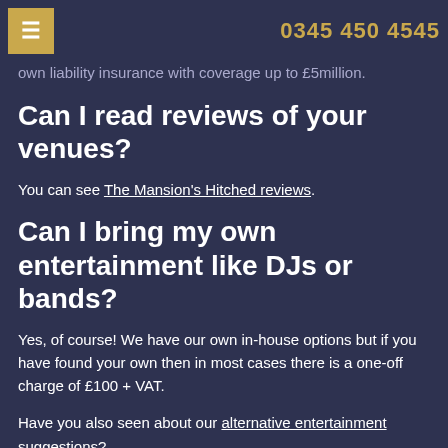☰  0345 450 4545
own liability insurance with coverage up to £5million.
Can I read reviews of your venues?
You can see The Mansion's Hitched reviews.
Can I bring my own entertainment like DJs or bands?
Yes, of course! We have our own in-house options but if you have found your own then in most cases there is a one-off charge of £100 + VAT.
Have you also seen about our alternative entertainment suggestions?
Can I visit the venue when a wedding is on, to see what it looks